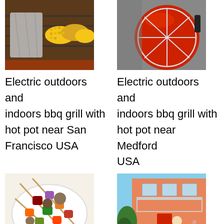[Figure (photo): Corn on the cob and foil-wrapped food on a BBQ grill]
Electric outdoors and indoors bbq grill with hot pot near San Francisco USA
[Figure (photo): Red spherical BBQ grill with wire rack]
Electric outdoors and indoors bbq grill with hot pot near Medford USA
[Figure (photo): Colorful vegetable and meat skewers on a white plate]
Electric outdoors and indoors bbq grill with
[Figure (photo): Person grilling outdoors near a pink house with balcony]
Electric outdoors and indoors bbq grill with